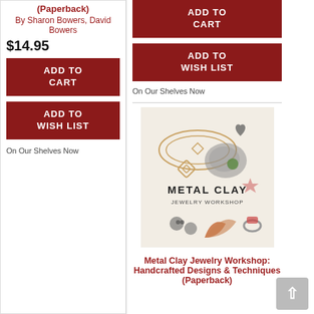(Paperback)
By Sharon Bowers, David Bowers
$14.95
ADD TO CART
ADD TO WISH LIST
On Our Shelves Now
ADD TO CART
ADD TO WISH LIST
On Our Shelves Now
[Figure (photo): Book cover of Metal Clay Jewelry Workshop showing jewelry pieces including necklaces, earrings and rings made from metal clay]
Metal Clay Jewelry Workshop: Handcrafted Designs & Techniques (Paperback)